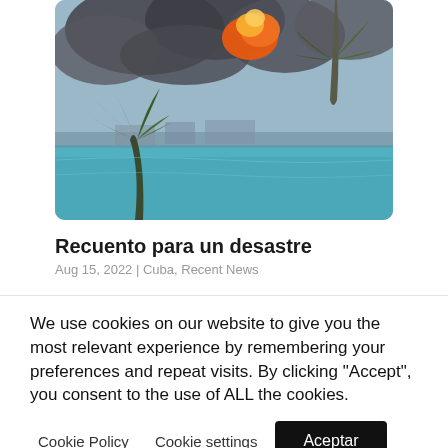[Figure (photo): Photo of a large fire with dark smoke rising over a body of water, with palm trees in the foreground bending in the wind and a shoreline or industrial area visible in the background.]
Recuento para un desastre
Aug 15, 2022 | Cuba, Recent News
We use cookies on our website to give you the most relevant experience by remembering your preferences and repeat visits. By clicking "Accept", you consent to the use of ALL the cookies.
Cookie Policy  Cookie settings  Aceptar